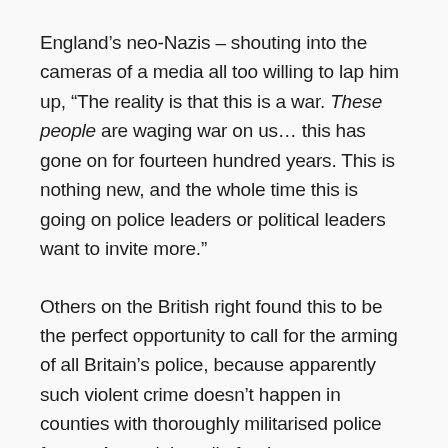England's neo-Nazis – shouting into the cameras of a media all too willing to lap him up, "The reality is that this is a war. These people are waging war on us… this has gone on for fourteen hundred years. This is nothing new, and the whole time this is going on police leaders or political leaders want to invite more."
Others on the British right found this to be the perfect opportunity to call for the arming of all Britain's police, because apparently such violent crime doesn't happen in counties with thoroughly militarised police forces. As social media feeds